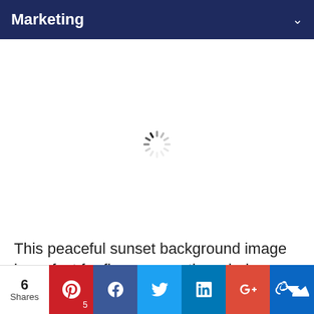Marketing
[Figure (other): Loading spinner (circular progress indicator) centered in a white area]
This peaceful sunset background image is perfect for flyers promoting wholesome and rejuvenating events. The horizontal divide
6 Shares | Pinterest 5 | Facebook | Twitter | LinkedIn | Google+ | Crown/other